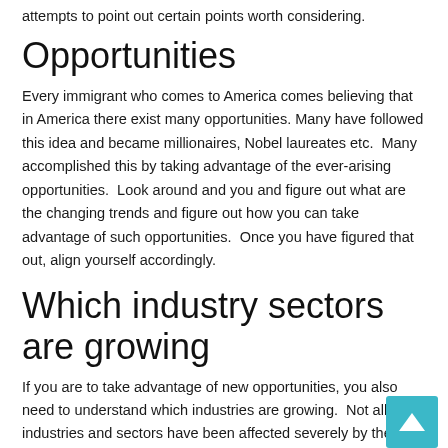attempts to point out certain points worth considering.
Opportunities
Every immigrant who comes to America comes believing that in America there exist many opportunities. Many have followed this idea and became millionaires, Nobel laureates etc.  Many accomplished this by taking advantage of the ever-arising opportunities.  Look around and you and figure out what are the changing trends and figure out how you can take advantage of such opportunities.  Once you have figured that out, align yourself accordingly.
Which industry sectors are growing
If you are to take advantage of new opportunities, you also need to understand which industries are growing.  Not all industries and sectors have been affected severely by the economic slowdown.  Some of the sectors are still doing well and are creating new opportunities.  If you determine that a certain sector is worth